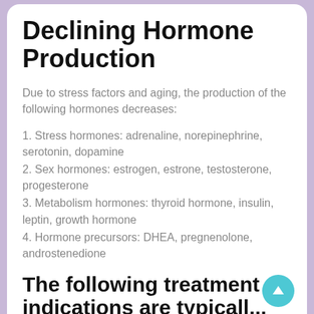Declining Hormone Production
Due to stress factors and aging, the production of the following hormones decreases:
1. Stress hormones: adrenaline, norepinephrine, serotonin, dopamine
2. Sex hormones: estrogen, estrone, testosterone, progesterone
3. Metabolism hormones: thyroid hormone, insulin, leptin, growth hormone
4. Hormone precursors: DHEA, pregnenolone, androstenedione
The following treatment indications are typically...